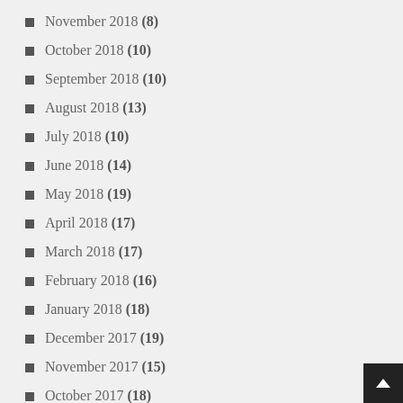November 2018 (8)
October 2018 (10)
September 2018 (10)
August 2018 (13)
July 2018 (10)
June 2018 (14)
May 2018 (19)
April 2018 (17)
March 2018 (17)
February 2018 (16)
January 2018 (18)
December 2017 (19)
November 2017 (15)
October 2017 (18)
September 2017 (22)
August 2017 (19)
July 2017 (19)